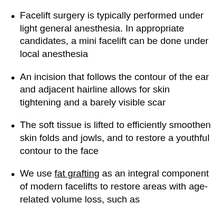Facelift surgery is typically performed under light general anesthesia. In appropriate candidates, a mini facelift can be done under local anesthesia
An incision that follows the contour of the ear and adjacent hairline allows for skin tightening and a barely visible scar
The soft tissue is lifted to efficiently smoothen skin folds and jowls, and to restore a youthful contour to the face
We use fat grafting as an integral component of modern facelifts to restore areas with age-related volume loss, such as